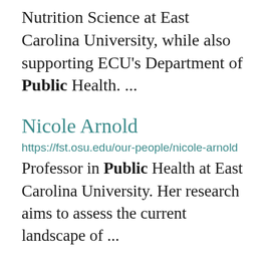Nutrition Science at East Carolina University, while also supporting ECU's Department of Public Health. ...
Nicole Arnold
https://fst.osu.edu/our-people/nicole-arnold
Professor in Public Health at East Carolina University. Her research aims to assess the current landscape of ...
Environmental Specialist 3 (Abandoned Mine Lands)
https://epn.osu.edu/jobs/823
year Childbirth/Adoption leave Ohio Public Employees Retirement System & PERS...